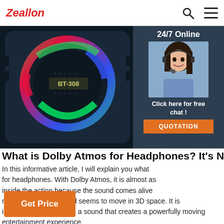Zeallon
[Figure (photo): BT-308 Bluetooth speaker with RGB LED ring light and dark body, photographed from above/front angle]
[Figure (photo): Customer service agent woman smiling, wearing headset, with 24/7 Online label, Click here for free chat button, and QUOTATION button]
What is Dolby Atmos for Headphones? It's N
In this informative article, I will explain you what for headphones. With Dolby Atmos, it is almost as inside the action because the sound comes alive richness and depth, and seems to move in 3D space. It is immersive and emotive; a sound that creates a powerfully moving entertainment experience.
Get Price